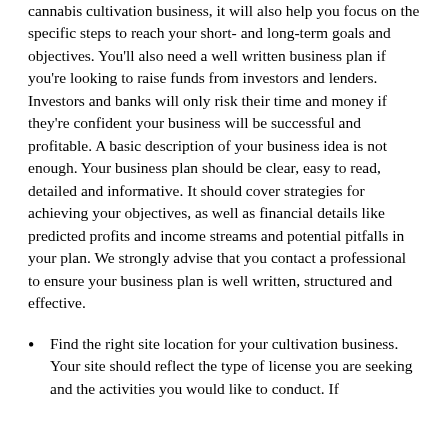cannabis cultivation business, it will also help you focus on the specific steps to reach your short- and long-term goals and objectives. You'll also need a well written business plan if you're looking to raise funds from investors and lenders. Investors and banks will only risk their time and money if they're confident your business will be successful and profitable. A basic description of your business idea is not enough. Your business plan should be clear, easy to read, detailed and informative. It should cover strategies for achieving your objectives, as well as financial details like predicted profits and income streams and potential pitfalls in your plan. We strongly advise that you contact a professional to ensure your business plan is well written, structured and effective.
Find the right site location for your cultivation business. Your site should reflect the type of license you are seeking and the activities you would like to conduct. If